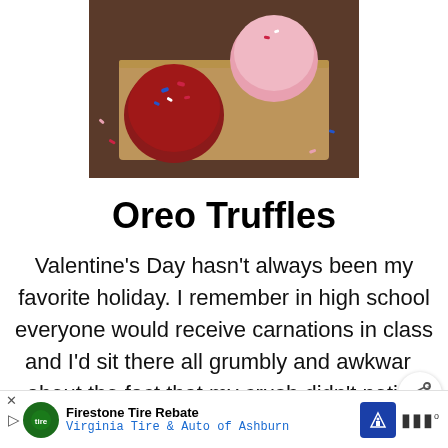[Figure (photo): Photo of red and pink Oreo truffle balls decorated with heart-shaped sprinkles on a wooden board, with scattered heart sprinkles around them]
Oreo Truffles
Valentine’s Day hasn’t always been my favorite holiday. I remember in high school everyone would receive carnations in class and I’d sit there all grumbly and awkward about the fact that my crush didn’t notice me. Wish I could say I’ve grown up so much since then, but to be honest, even when I have a
[Figure (other): Share icon button (circular with share symbol)]
[Figure (other): What's Next overlay showing thumbnail and text: You Can Get a Life-Sized...]
Firestone Tire Rebate
Virginia Tire & Auto of Ashburn